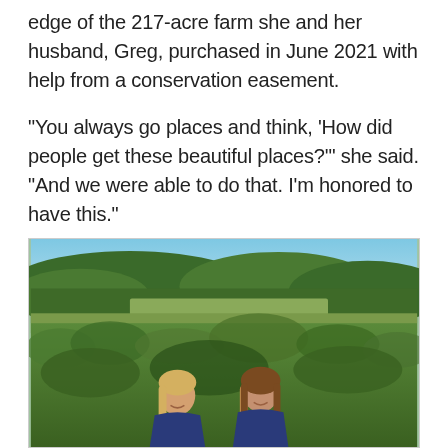edge of the 217-acre farm she and her husband, Greg, purchased in June 2021 with help from a conservation easement.

“You always go places and think, ‘How did people get these beautiful places?’” she said. “And we were able to do that. I’m honored to have this.”
[Figure (photo): Two women standing in front of a large green field with shrubs and bushes, rolling forested hills in the background under a clear blue sky. Both women are wearing navy blue tops and smiling at the camera.]